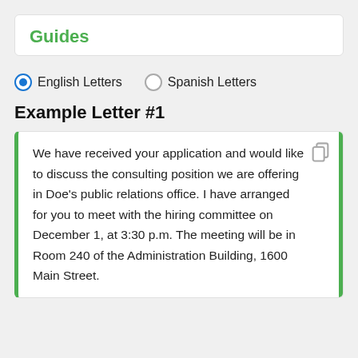Guides
Get straight to the point. There is no need to go into details about the interview, unless the details are absolutely critical and the interviewer or interviewee needs to make special preparations for the appointment.
English Letters (selected)
Spanish Letters
Example Letter #1
We have received your application and would like to discuss the consulting position we are offering in Doe's public relations office. I have arranged for you to meet with the hiring committee on December 1, at 3:30 p.m. The meeting will be in Room 240 of the Administration Building, 1600 Main Street.